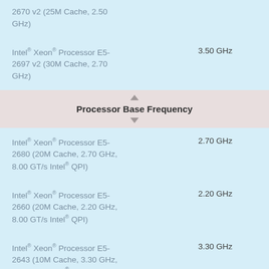2670 v2 (25M Cache, 2.50 GHz)
Intel® Xeon® Processor E5-2697 v2 (30M Cache, 2.70 GHz) | 3.50 GHz
Processor Base Frequency
Intel® Xeon® Processor E5-2680 (20M Cache, 2.70 GHz, 8.00 GT/s Intel® QPI) | 2.70 GHz
Intel® Xeon® Processor E5-2660 (20M Cache, 2.20 GHz, 8.00 GT/s Intel® QPI) | 2.20 GHz
Intel® Xeon® Processor E5-2643 (10M Cache, 3.30 GHz, 8.00 GT/s Intel® QPI) | 3.30 GHz